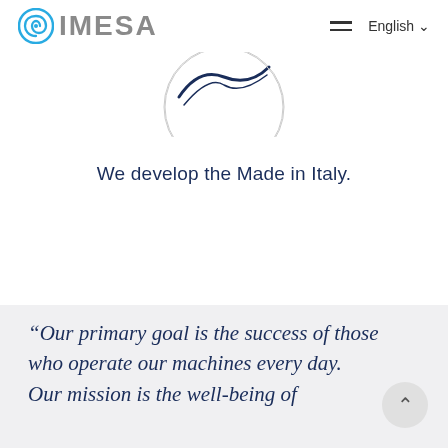IMESA — English
[Figure (logo): IMESA logo: teal spiral icon on the left, followed by gray bold uppercase text IMESA]
[Figure (photo): Partial circular IMESA logo medallion, white and dark blue, shown cropped at the top]
We develop the Made in Italy.
“Our primary goal is the success of those who operate our machines every day.
Our mission is the well-being of